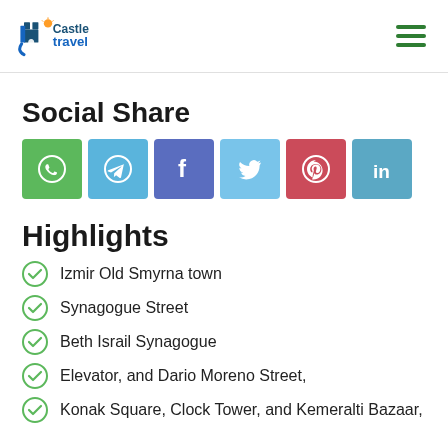Castle Travel
Social Share
[Figure (infographic): Social share buttons: WhatsApp, Telegram, Facebook, Twitter, Pinterest, LinkedIn]
Highlights
Izmir Old Smyrna town
Synagogue Street
Beth Israil Synagogue
Elevator, and Dario Moreno Street,
Konak Square, Clock Tower, and Kemeralti Bazaar,